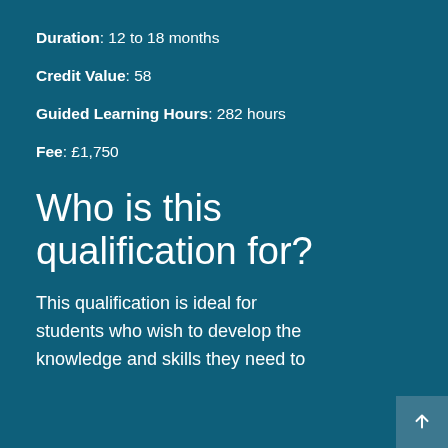Duration: 12 to 18 months
Credit Value: 58
Guided Learning Hours: 282 hours
Fee: £1,750
Who is this qualification for?
This qualification is ideal for students who wish to develop the knowledge and skills they need to